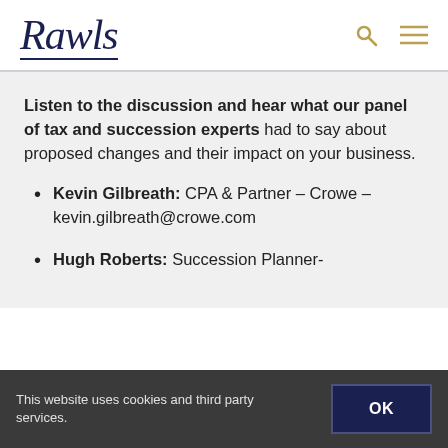Rawls
Listen to the discussion and hear what our panel of tax and succession experts had to say about proposed changes and their impact on your business.
Kevin Gilbreath: CPA & Partner – Crowe – kevin.gilbreath@crowe.com
Hugh Roberts: Succession Planner-
This website uses cookies and third party services.